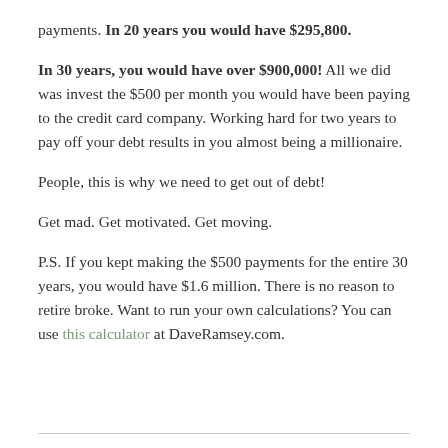payments. In 20 years you would have $295,800.
In 30 years, you would have over $900,000! All we did was invest the $500 per month you would have been paying to the credit card company. Working hard for two years to pay off your debt results in you almost being a millionaire.
People, this is why we need to get out of debt!
Get mad. Get motivated. Get moving.
P.S. If you kept making the $500 payments for the entire 30 years, you would have $1.6 million. There is no reason to retire broke. Want to run your own calculations? You can use this calculator at DaveRamsey.com.